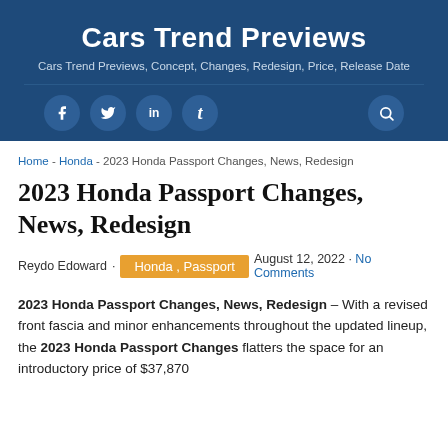Cars Trend Previews
Cars Trend Previews, Concept, Changes, Redesign, Price, Release Date
Home - Honda - 2023 Honda Passport Changes, News, Redesign
2023 Honda Passport Changes, News, Redesign
Reydo Edoward · Honda , Passport · August 12, 2022 · No Comments
2023 Honda Passport Changes, News, Redesign – With a revised front fascia and minor enhancements throughout the updated lineup, the 2023 Honda Passport Changes flatters the space for an introductory price of $37,870